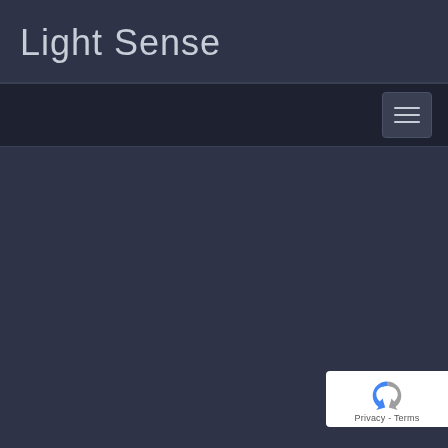Light Sense
[Figure (screenshot): Navigation bar with hamburger menu button (three horizontal lines) on dark background]
[Figure (logo): Google reCAPTCHA badge with recycling arrow icon and Privacy - Terms text]